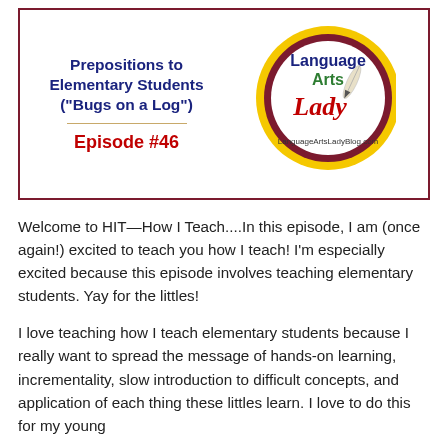[Figure (logo): Podcast episode banner with title 'Prepositions to Elementary Students ("Bugs on a Log")' and 'Episode #46' on the left, and Language Arts Lady logo on the right. Logo shows circular badge with yellow outer ring, dark red inner ring, 'Language Arts Lady' text in green, red, and dark blue, with a quill pen illustration. Website: LanguageArtsLadyBlog.com]
Welcome to HIT—How I Teach....In this episode, I am (once again!) excited to teach you how I teach! I'm especially excited because this episode involves teaching elementary students. Yay for the littles!
I love teaching how I teach elementary students because I really want to spread the message of hands-on learning, incrementality, slow introduction to difficult concepts, and application of each thing these littles learn. I love to do this for my young